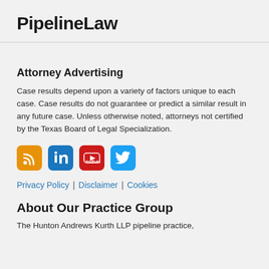PipelineLaw
Attorney Advertising
Case results depend upon a variety of factors unique to each case. Case results do not guarantee or predict a similar result in any future case. Unless otherwise noted, attorneys not certified by the Texas Board of Legal Specialization.
[Figure (infographic): Social media icons: RSS (orange), LinkedIn (blue), YouTube (red), Twitter (light blue)]
Privacy Policy | Disclaimer | Cookies
About Our Practice Group
The Hunton Andrews Kurth LLP pipeline practice,